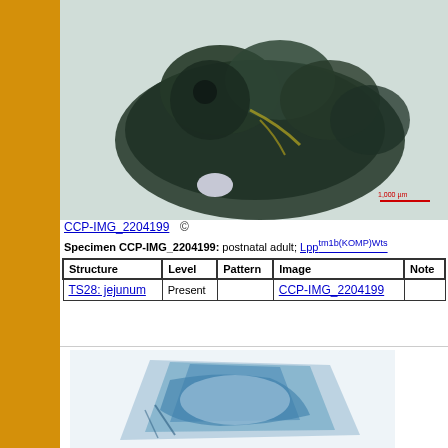[Figure (photo): Microscopy image of mouse specimen stained dark green/teal, showing tissue from postnatal adult Lpp mouse. Scale bar labeled 1,000 µm in red at bottom right.]
CCP-IMG_2204199  ©
Specimen CCP-IMG_2204199: postnatal adult; Lpptm1b(KOMP)Wts
| Structure | Level | Pattern | Image | Note |
| --- | --- | --- | --- | --- |
| TS28: jejunum | Present |  | CCP-IMG_2204199 |  |
[Figure (photo): Microscopy image of mouse tissue stained blue, showing a wedge-shaped tissue section on a light/white background.]